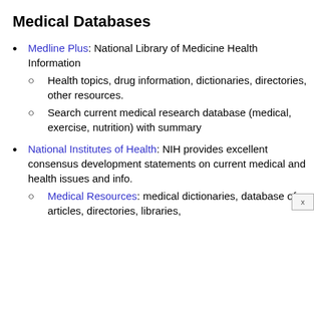Medical Databases
Medline Plus: National Library of Medicine Health Information
Health topics, drug information, dictionaries, directories, other resources.
Search current medical research database (medical, exercise, nutrition) with summary
National Institutes of Health: NIH provides excellent consensus development statements on current medical and health issues and info.
Medical Resources: medical dictionaries, database of articles, directories, libraries,